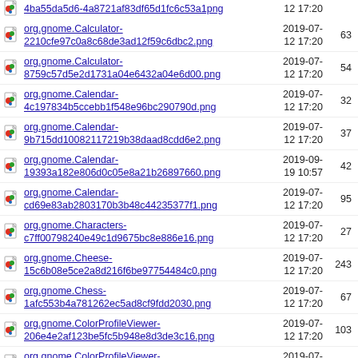org.gnome.Calculator-2210cfe97c0a8c68de3ad12f59c6dbc2.png | 2019-07-12 17:20 | 63
org.gnome.Calculator-8759c57d5e2d1731a04e6432a04e6d00.png | 2019-07-12 17:20 | 54
org.gnome.Calendar-4c197834b5ccebb1f548e96bc290790d.png | 2019-07-12 17:20 | 32
org.gnome.Calendar-9b715dd10082117219b38daad8cdd6e2.png | 2019-07-12 17:20 | 37
org.gnome.Calendar-19393a182e806d0c05e8a21b26897660.png | 2019-09-19 10:57 | 42
org.gnome.Calendar-cd69e83ab2803170b3b48c44235377f1.png | 2019-07-12 17:20 | 95
org.gnome.Characters-c7ff00798240e49c1d9675bc8e886e16.png | 2019-07-12 17:20 | 27
org.gnome.Cheese-15c6b08e5ce2a8d216f6be97754484c0.png | 2019-07-12 17:20 | 243
org.gnome.Chess-1afc553b4a781262ec5ad8cf9fdd2030.png | 2019-07-12 17:20 | 67
org.gnome.ColorProfileViewer-206e4e2af123be5fc5b948e8d3de3c16.png | 2019-07-12 17:20 | 103
org.gnome.ColorProfileViewer-708a4dcdf63da2d48c259b723974361b.png | 2019-07-12 17:20 | 98